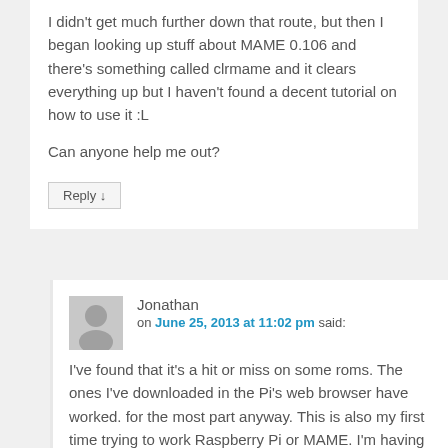I didn't get much further down that route, but then I began looking up stuff about MAME 0.106 and there's something called clrmame and it clears everything up but I haven't found a decent tutorial on how to use it :L
Can anyone help me out?
Reply ↓
Jonathan
on June 25, 2013 at 11:02 pm said:
I've found that it's a hit or miss on some roms. The ones I've downloaded in the Pi's web browser have worked. for the most part anyway. This is also my first time trying to work Raspberry Pi or MAME. I'm having some problems every now and then.
slow and steady.